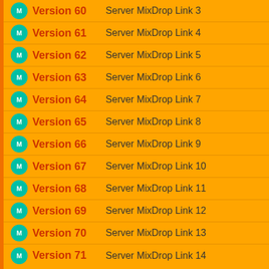Version 60 — Server MixDrop Link 3
Version 61 — Server MixDrop Link 4
Version 62 — Server MixDrop Link 5
Version 63 — Server MixDrop Link 6
Version 64 — Server MixDrop Link 7
Version 65 — Server MixDrop Link 8
Version 66 — Server MixDrop Link 9
Version 67 — Server MixDrop Link 10
Version 68 — Server MixDrop Link 11
Version 69 — Server MixDrop Link 12
Version 70 — Server MixDrop Link 13
Version 71 — Server MixDrop Link 14